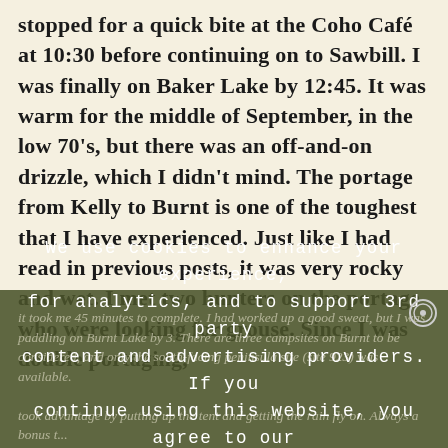stopped for a quick bite at the Coho Café at 10:30 before continuing on to Sawbill. I was finally on Baker Lake by 12:45. It was warm for the middle of September, in the low 70's, but there was an off-and-on drizzle, which I didn't mind. The portage from Kelly to Burnt is one of the toughest that I have experienced. Just like I had read in previous posts, it was very rocky and wet. I met two hunters on the portage who were looking for grouse. Since I was double portaging,
it took me 45 minutes to complete. I had worked up a good sweat, but I was paddling on Burnt Lake by 3. There are three campsites on Burnt to be considered, and only the south-facing peninsula site (site 923) was available.
took advantage by putting up the tent and getting the rain fly on. Always a bonus t...
We use cookies to enhance your experience, for analytics, and to support 3rd party content and advertising providers. If you continue using this website, you agree to our privacy and legal agreement. Ok